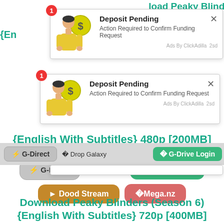[Figure (screenshot): Ad popup notification: 'Deposit Pending - Action Required to Confirm Funding Request', Ads By ClickAdilla 2sd, with red badge showing 1]
{En...
[Figure (screenshot): Navigation bar with G-Direct button (gray), Drop Galaxy text, G-Drive Login button (green)]
[Figure (screenshot): Second ad popup notification: 'Deposit Pending - Action Required to Confirm Funding Request', Ads By ClickAdilla 2sd, with red badge showing 1]
{English With Subtitles} 480p [200MB]
[Figure (screenshot): Button row: G-Direct (gray), Drop Galaxy, G-Drive Login (green), Dood Stream (golden), Mega.nz (rose)]
Download Peaky Blinders (Season 6) {English With Subtitles} 720p [400MB]